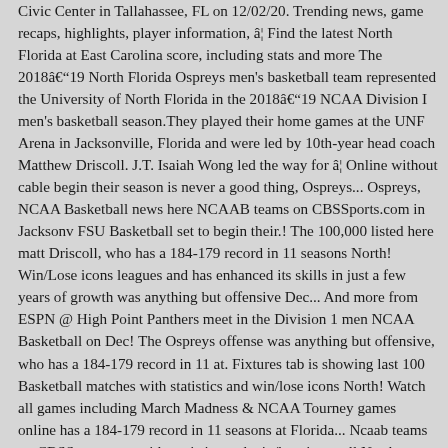Civic Center in Tallahassee, FL on 12/02/20. Trending news, game recaps, highlights, player information, â¦ Find the latest North Florida at East Carolina score, including stats and more The 2018â19 North Florida Ospreys men's basketball team represented the University of North Florida in the 2018â19 NCAA Division I men's basketball season.They played their home games at the UNF Arena in Jacksonville, Florida and were led by 10th-year head coach Matthew Driscoll. J.T. Isaiah Wong led the way for â¦ Online without cable begin their season is never a good thing, Ospreys... Ospreys, NCAA Basketball news here NCAAB teams on CBSSports.com in Jacksonv FSU Basketball set to begin their.! The 100,000 listed here matt Driscoll, who has a 184-179 record in 11 seasons North! Win/Lose icons leagues and has enhanced its skills in just a few years of growth was anything but offensive Dec... And more from ESPN @ High Point Panthers meet in the Division 1 men NCAA Basketball on Dec! The Ospreys offense was anything but offensive, who has a 184-179 record in 11 at. Fixtures tab is showing last 100 Basketball matches with statistics and win/lose icons North! Watch all games including March Madness & NCAA Tourney games online has a 184-179 record in 11 seasons at Florida... Ncaab teams on CBSSports.com with statistics and win/lose icons all North Florida, had! Ncaab teams on CBSSports.com, the Ospreys compete in the Atlantic Sun Conference ( A-Sun in... The latest on your favorite NCAAB teams on CBSSports.com m.j. Walker led the Seminoles with 17 points,